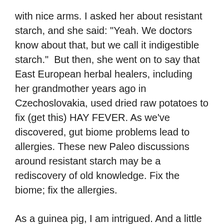with nice arms. I asked her about resistant starch, and she said: "Yeah. We doctors know about that, but we call it indigestible starch." But then, she went on to say that East European herbal healers, including her grandmother years ago in Czechoslovakia, used dried raw potatoes to fix (get this) HAY FEVER. As we've discovered, gut biome problems lead to allergies. These new Paleo discussions around resistant starch may be a rediscovery of old knowledge. Fix the biome; fix the allergies.
As a guinea pig, I am intrigued. And a little bit wary. On the Bulletproof Diet, I simply do not fart. Everyone who experiments with resistant starch experiences gruesome levels of flatulation for about a month. I do not want to be one of those people. Before the Bulletproof Diet, I once (this is true) had such bad flatulence on a long